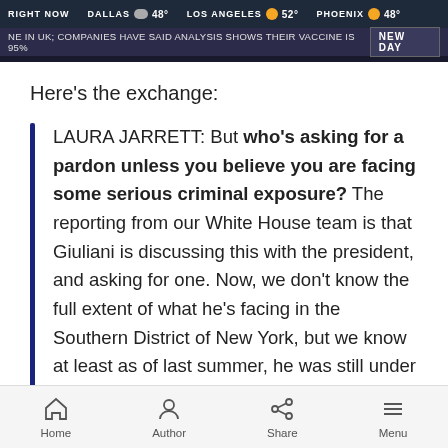[Figure (screenshot): TV news broadcast screenshot showing weather ticker bar with cities: RIGHT NOW, DALLAS 48°, LOS ANGELES 52°, PHOENIX 48°, and a news ticker reading: NE IN UK; COMPANIES HAVE SAID ANALYSIS SHOWS THEIR VACCINE IS 95% with NEW DAY label]
Here's the exchange:
LAURA JARRETT: But who's asking for a pardon unless you believe you are facing some serious criminal exposure? The reporting from our White House team is that Giuliani is discussing this with the president, and asking for one. Now, we don't know the full extent of what he's facing in the Southern District of New York, but we know at least as of last summer, he was still under investigation for
Home   Author   Share   Menu